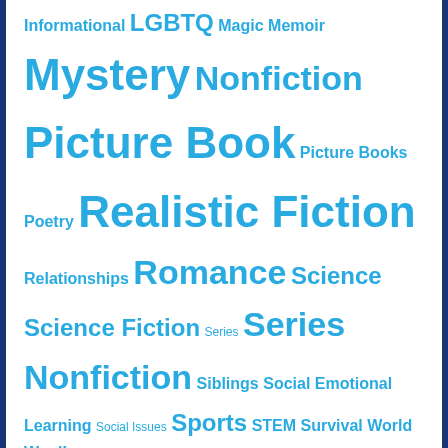Informational LGBTQ Magic Memoir Mystery Nonfiction Picture Book Picture Books Poetry Realistic Fiction Relationships Romance Science Science Fiction Series Series Nonfiction Siblings Social Emotional Learning Social Issues Sports STEM Survival World War II
Recent Posts
Elem./MG – Explaining How Things Work (Series NF) August 3, 2022
YA – The National Parks: Preserving America's Wild Places August 3, 2022
Elem. – Never Forget: Heroes of 9/11 (Series NF) August 3, 2022
Elem. – Wait! What? Teddy Roosevelt was a Moose?